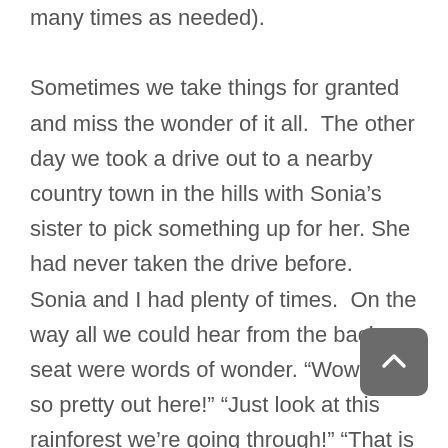many times as needed).

Sometimes we take things for granted and miss the wonder of it all.  The other day we took a drive out to a nearby country town in the hills with Sonia’s sister to pick something up for her. She had never taken the drive before.  Sonia and I had plenty of times.  On the way all we could hear from the back seat were words of wonder. “Wow, it’s so pretty out here!” “Just look at this rainforest we’re going through!” “That is such a cool house!”  “Look at the flowers!”  We were all in the same ca- travelling along the same ride, witnessing